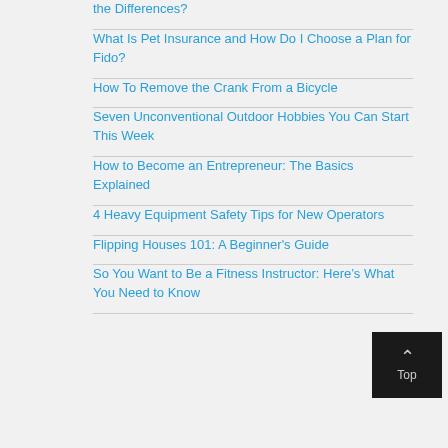the Differences?
What Is Pet Insurance and How Do I Choose a Plan for Fido?
How To Remove the Crank From a Bicycle
Seven Unconventional Outdoor Hobbies You Can Start This Week
How to Become an Entrepreneur: The Basics Explained
4 Heavy Equipment Safety Tips for New Operators
Flipping Houses 101: A Beginner's Guide
So You Want to Be a Fitness Instructor: Here’s What You Need to Know